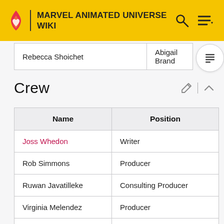MARVEL ANIMATED UNIVERSE WIKI
|  |  |
| --- | --- |
| Rebecca Shoichet | Abigail Brand |
Crew
| Name | Position |
| --- | --- |
| Joss Whedon | Writer |
| Rob Simmons | Producer |
| Ruwan Javatilleke | Consulting Producer |
| Virginia Melendez | Producer |
| Alan Fine | Executive Producer |
| Dan Buckley | Executive Producer |